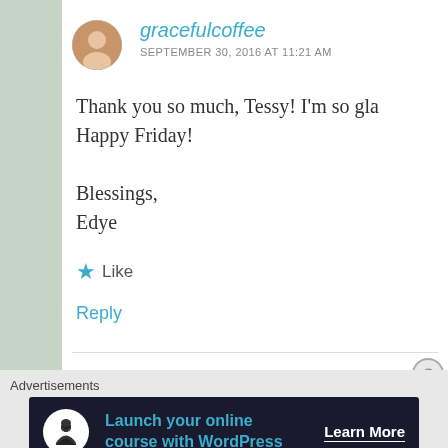gracefulcoffee
SEPTEMBER 30, 2016 AT 11:21 AM
Thank you so much, Tessy! I'm so gla Happy Friday!

Blessings,
Edye
Like
Reply
Advertisements
[Figure (screenshot): Advertisement banner: dark navy background with circular white icon showing a tree/person silhouette, teal text 'Launch your online course with WordPress', white 'Learn More' link with underline]